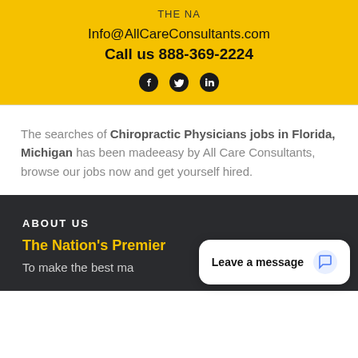THE NA
Info@AllCareConsultants.com
Call us 888-369-2224
[Figure (other): Social media icons: Facebook, Twitter, LinkedIn]
The searches of Chiropractic Physicians jobs in Florida, Michigan has been madeeasy by All Care Consultants, browse our jobs now and get yourself hired.
ABOUT US
The Nation's Premier
To make the best ma
[Figure (other): Chat widget overlay with text 'Leave a message' and chat bubble icon]